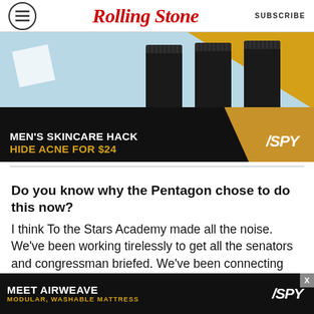RollingStone | SUBSCRIBE
[Figure (illustration): Advertisement banner for SPY Men's Skincare Hack - Hide Acne For $24, showing three black product containers on a blue and gold background]
[Figure (illustration): Advertisement banner for SPY - Meet Airweave Modular, Washable Mattress on dark background]
Do you know why the Pentagon chose to do this now?
I think To the Stars Academy made all the noise. We've been working tirelessly to get all the senators and congressman briefed. We've been connecting the people that are still running the